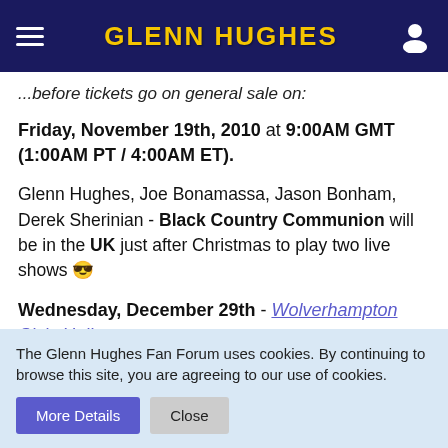GLENN HUGHES
...before tickets go on general sale on:
Friday, November 19th, 2010 at 9:00AM GMT (1:00AM PT / 4:00AM ET).
Glenn Hughes, Joe Bonamassa, Jason Bonham, Derek Sherinian - Black Country Communion will be in the UK just after Christmas to play two live shows 😎
Wednesday, December 29th - Wolverhampton Civic Hall
Thursday, December 30th - O2 London Shepherd's Bush Empire
Further info. available here:
The Glenn Hughes Fan Forum uses cookies. By continuing to browse this site, you are agreeing to our use of cookies.